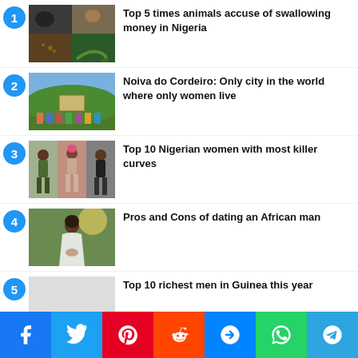1. Top 5 times animals accuse of swallowing money in Nigeria
2. Noiva do Cordeiro: Only city in the world where only women live
3. Top 10 Nigerian women with most killer curves
4. Pros and Cons of dating an African man
5. Top 10 richest men in Guinea this year